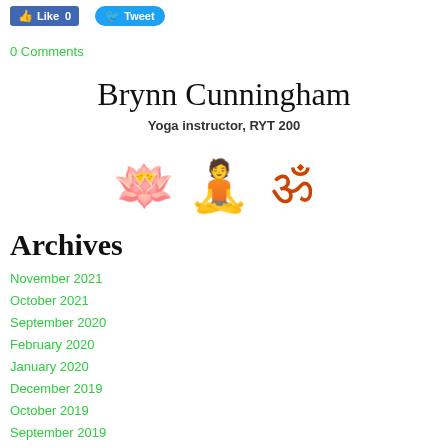[Figure (other): Facebook Like button showing count 0 and Twitter Tweet button]
0 Comments
Brynn Cunningham
Yoga instructor, RYT 200
[Figure (illustration): Three orange yoga/spiritual icons: lotus flower, meditating Buddha, Om symbol]
Archives
November 2021
October 2021
September 2020
February 2020
January 2020
December 2019
October 2019
September 2019
June 2019